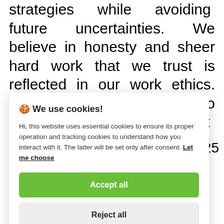strategies while avoiding future uncertainties. We believe in honesty and sheer hard work that we trust is reflected in our work ethics. Our vision is not just limited to gain the trust of our clients but
[Figure (screenshot): Cookie consent dialog overlay with title '🍪 We use cookies!', explanatory text about essential and tracking cookies, a 'Let me choose' link, a green 'Accept all' button, and a grey 'Reject all' button.]